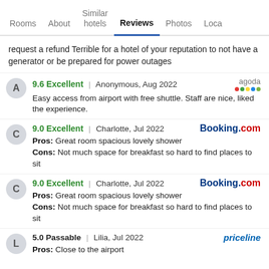Rooms | About | Similar hotels | Reviews | Photos | Loca
request a refund Terrible for a hotel of your reputation to not have a generator or be prepared for power outages
9.6 Excellent | Anonymous, Aug 2022 [agoda] Easy access from airport with free shuttle. Staff are nice, liked the experience.
9.0 Excellent | Charlotte, Jul 2022 [Booking.com] Pros: Great room spacious lovely shower Cons: Not much space for breakfast so hard to find places to sit
9.0 Excellent | Charlotte, Jul 2022 [Booking.com] Pros: Great room spacious lovely shower Cons: Not much space for breakfast so hard to find places to sit
5.0 Passable | Lilia, Jul 2022 [priceline] Pros: Close to the airport